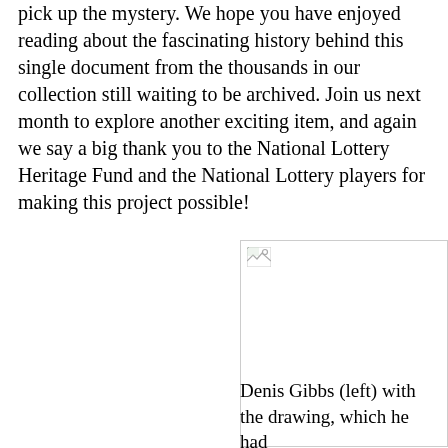pick up the mystery. We hope you have enjoyed reading about the fascinating history behind this single document from the thousands in our collection still waiting to be archived. Join us next month to explore another exciting item, and again we say a big thank you to the National Lottery Heritage Fund and the National Lottery players for making this project possible!
[Figure (photo): A photo (broken/missing image placeholder) showing Denis Gibbs with a drawing]
Denis Gibbs (left) with the drawing, which he had